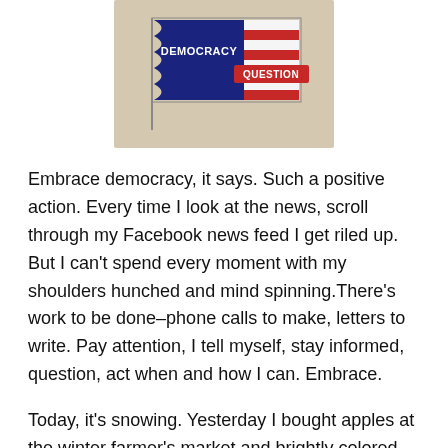[Figure (photo): A tote bag or button/badge with a waving flag design. The flag has a blue section with 'DEMOCRACY' text and a red and white striped section with 'QUESTION' text in white on a red banner. The background of the item is beige/tan.]
Embrace democracy, it says. Such a positive action. Every time I look at the news, scroll through my Facebook news feed I get riled up. But I can't spend every moment with my shoulders hunched and mind spinning.There's work to be done–phone calls to make, letters to write. Pay attention, I tell myself, stay informed, question, act when and how I can. Embrace.
Today, it's snowing. Yesterday I bought apples at the winter farmer's market and brightly colored primroses at the garden store. This morning I had breakfast with friends and drove home as the snow began to fall. It's now 3:30 and snow has been falling since 10 a.m. The cat has